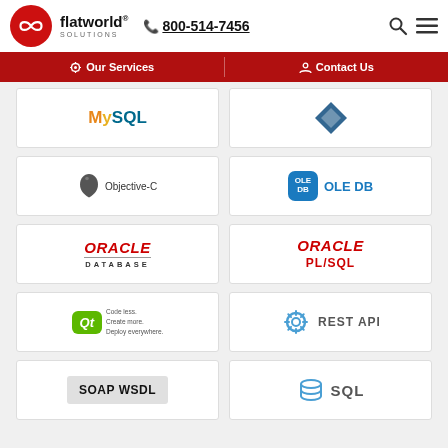[Figure (logo): Flatworld Solutions logo with red circular infinity icon]
800-514-7456
[Figure (infographic): Search and hamburger menu icons]
[Figure (infographic): Red navigation bar with Our Services and Contact Us]
[Figure (logo): MySQL logo]
[Figure (logo): Diamond/PostgreSQL logo]
[Figure (logo): Objective-C logo with Apple icon]
[Figure (logo): OLE DB logo with blue badge]
[Figure (logo): Oracle Database logo]
[Figure (logo): Oracle PL/SQL logo]
[Figure (logo): Qt framework logo]
[Figure (logo): REST API logo with gear/cloud icon]
[Figure (logo): SOAP WSDL logo]
[Figure (logo): SQL logo with database icon]